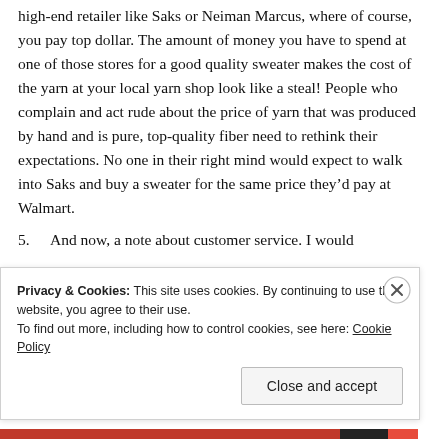high-end retailer like Saks or Neiman Marcus, where of course, you pay top dollar. The amount of money you have to spend at one of those stores for a good quality sweater makes the cost of the yarn at your local yarn shop look like a steal! People who complain and act rude about the price of yarn that was produced by hand and is pure, top-quality fiber need to rethink their expectations. No one in their right mind would expect to walk into Saks and buy a sweater for the same price they'd pay at Walmart.
5. And now, a note about customer service. I would
Privacy & Cookies: This site uses cookies. By continuing to use this website, you agree to their use.
To find out more, including how to control cookies, see here: Cookie Policy